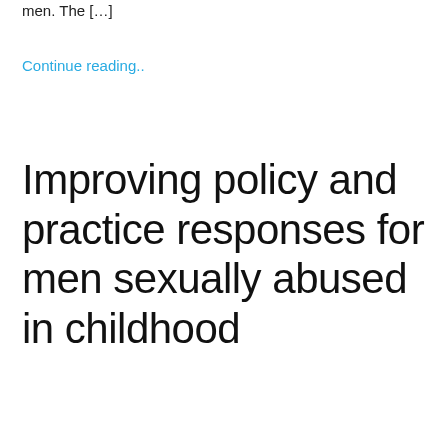men. The […]
Continue reading..
Improving policy and practice responses for men sexually abused in childhood